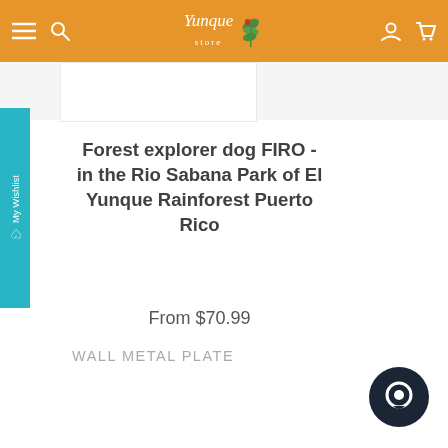Yunque store
Forest explorer dog FIRO - in the Rio Sabana Park of El Yunque Rainforest Puerto Rico
From $70.99
WALL METAL PLATE